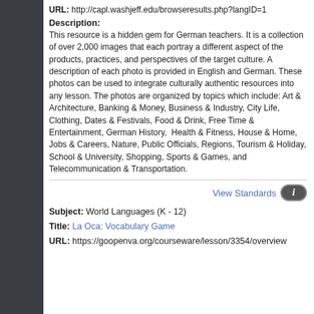URL: http://capl.washjeff.edu/browseresults.php?langID=1
Description:
This resource is a hidden gem for German teachers. It is a collection of over 2,000 images that each portray a different aspect of the products, practices, and perspectives of the target culture. A description of each photo is provided in English and German. These photos can be used to integrate culturally authentic resources into any lesson. The photos are organized by topics which include: Art & Architecture, Banking & Money, Business & Industry, City Life, Clothing, Dates & Festivals, Food & Drink, Free Time & Entertainment, German History, Health & Fitness, House & Home, Jobs & Careers, Nature, Public Officials, Regions, Tourism & Holiday, School & University, Shopping, Sports & Games, and Telecommunication & Transportation.
View Standards
Subject: World Languages (K - 12)
Title: La Oca: Vocabulary Game
URL: https://goopenva.org/courseware/lesson/3354/overview